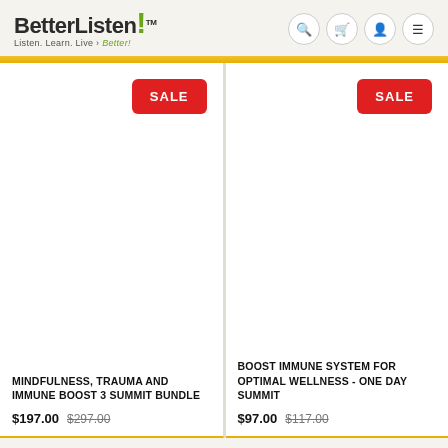[Figure (logo): BetterListen! logo with tagline 'Listen. Learn. Live. Better!']
[Figure (infographic): Red SALE badge on white product card background - left product (Mindfulness, Trauma and Immune Boost 3 Summit Bundle)]
[Figure (infographic): Red SALE badge on white product card background - right product (Boost Immune System for Optimal Wellness - One Day Summit)]
MINDFULNESS, TRAUMA AND IMMUNE BOOST 3 SUMMIT BUNDLE
$197.00  $297.00
BOOST IMMUNE SYSTEM FOR OPTIMAL WELLNESS - ONE DAY SUMMIT
$97.00  $117.00